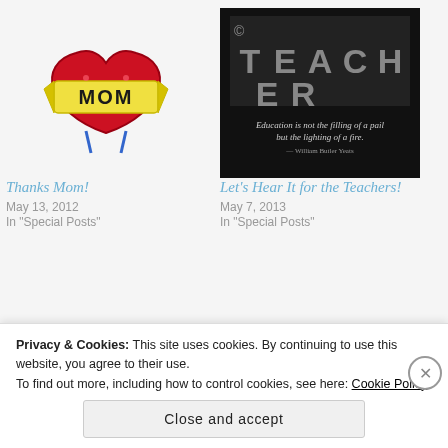[Figure (illustration): Mom tattoo heart illustration with red heart and yellow banner reading MOM]
Thanks Mom!
May 13, 2012
In "Special Posts"
[Figure (photo): Black background image with TEACHER text and quote: Education is not the filling of a pail but the lighting of a fire.]
Let's Hear It for the Teachers!
May 7, 2013
In "Special Posts"
[Figure (photo): Red t-shirt with letter D on it, person wearing it against blue sky background]
SuperDAD
Privacy & Cookies: This site uses cookies. By continuing to use this website, you agree to their use.
To find out more, including how to control cookies, see here: Cookie Policy
Close and accept